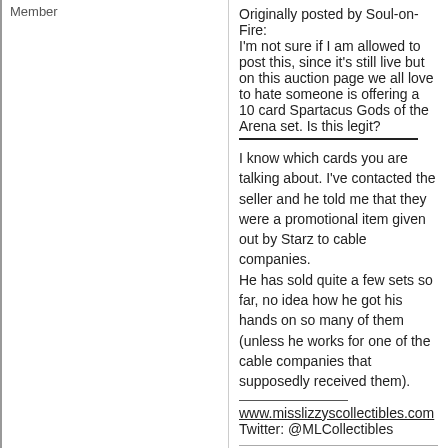Member
Originally posted by Soul-on-Fire:
I'm not sure if I am allowed to post this, since it's still live but on this auction page we all love to hate someone is offering a 10 card Spartacus Gods of the Arena set. Is this legit?
I know which cards you are talking about. I've contacted the seller and he told me that they were a promotional item given out by Starz to cable companies.
He has sold quite a few sets so far, no idea how he got his hands on so many of them (unless he works for one of the cable companies that supposedly received them).
www.misslizzyscollectibles.com
Twitter: @MLCollectibles
Posts: 2070 | Location: Southern California | Registered: March 20, 2009
archifou
Silver Card Talk Member
posted February 11, 2011 08:22 PM
Hide Post
I won the auction at $9.99 and since I am from Canada the seller cancel the transaction. I am fade up with the US only Fre